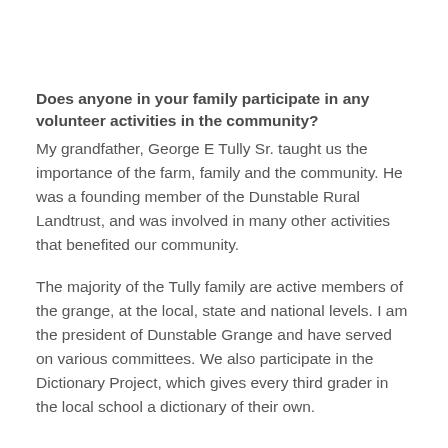Does anyone in your family participate in any volunteer activities in the community?
My grandfather, George E Tully Sr. taught us the importance of the farm, family and the community. He was a founding member of the Dunstable Rural Landtrust, and was involved in many other activities that benefited our community.
The majority of the Tully family are active members of the grange, at the local, state and national levels. I am the president of Dunstable Grange and have served on various committees. We also participate in the Dictionary Project, which gives every third grader in the local school a dictionary of their own.